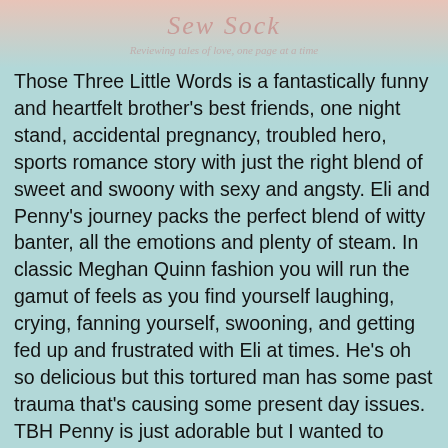[Figure (illustration): Top portion of a book review blog graphic with decorative illustrated elements and logo text reading 'Reviewing tales of love, one page at a time']
Those Three Little Words is a fantastically funny and heartfelt brother's best friends, one night stand, accidental pregnancy, troubled hero, sports romance story with just the right blend of sweet and swoony with sexy and angsty. Eli and Penny's journey packs the perfect blend of witty banter, all the emotions and plenty of steam. In classic Meghan Quinn fashion you will run the gamut of feels as you find yourself laughing, crying, fanning yourself, swooning, and getting fed up and frustrated with Eli at times. He's oh so delicious but this tortured man has some past trauma that's causing some present day issues. TBH Penny is just adorable but I wanted to shake her a few times for some of her behaviors in response to the way Eli was acting. But even with that said they couldn't be more perfect for each other.